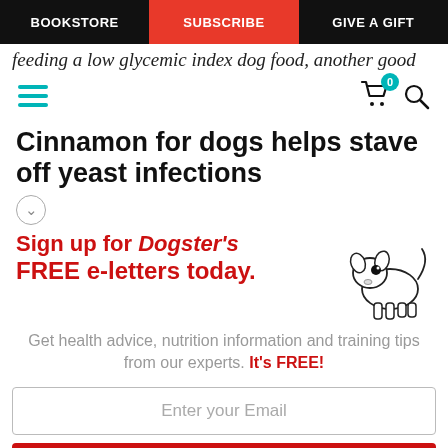BOOKSTORE | SUBSCRIBE | GIVE A GIFT
feeding a low glycemic index dog food, another good
Cinnamon for dogs helps stave off yeast infections
[Figure (infographic): Sign up for Dogster's FREE e-letters today. Get health advice, nutrition information and training tips from our experts. It's FREE! With dog illustration.]
Enter your Email
YES! SIGN ME UP